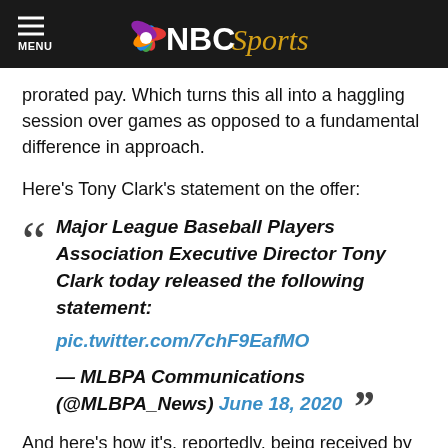NBC Sports
prorated pay. Which turns this all into a haggling session over games as opposed to a fundamental difference in approach.
Here's Tony Clark's statement on the offer:
“ Major League Baseball Players Association Executive Director Tony Clark today released the following statement: pic.twitter.com/7chF9EafMO — MLBPA Communications (@MLBPA_News) June 18, 2020 ”
And here’s how it’s, reportedly, being received by the owners: